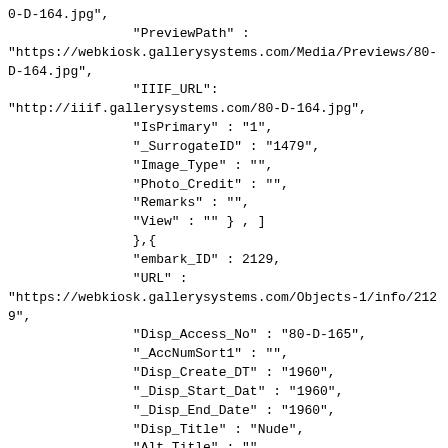0-D-164.jpg",
                "PreviewPath" :
"https://webkiosk.gallerysystems.com/Media/Previews/80-D-164.jpg",
                "IIIF_URL":
"http://iiif.gallerysystems.com/80-D-164.jpg",
                "IsPrimary" : "1",
                "_SurrogateID" : "1479",
                "Image_Type" : "",
                "Photo_Credit" : "",
                "Remarks" : "",
                "View" : "" } , ]
                },{
                "embark_ID" : 2129,
                "URL" :
"https://webkiosk.gallerysystems.com/Objects-1/info/2129",
                "Disp_Access_No" : "80-D-165",
                "_AccNumSort1" : "",
                "Disp_Create_DT" : "1960",
                "_Disp_Start_Dat" : "1960",
                "_Disp_End_Date" : "1960",
                "Disp_Title" : "Nude",
                "Alt_Title" : "",
                "Obj_Title" : "",
                "Series_Title" : "",
                "Disp_Maker_1" : "Seymour Remenick",
                "Sort_Artist" : "Remenick, Seymour",
                "Disp_Dimen" : "11 x 9 3/4 in. (27.9 x 24.8 cm)",